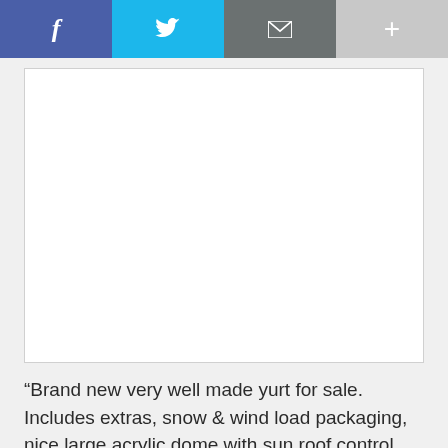[Figure (screenshot): Social share bar with four buttons: Facebook (blue-purple), Twitter (cyan), Email (gray), More/Plus (light gray)]
[Figure (photo): White rectangular image placeholder area with light border]
“Brand new very well made yurt for sale. Includes extras, snow & wind load packaging, nice large acrylic dome with sun roof control and double door....